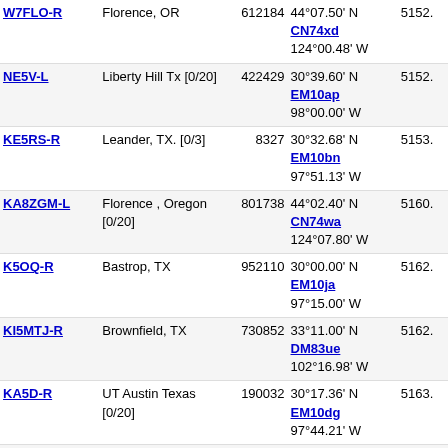| Callsign | Location | Node | Coordinates | Freq |
| --- | --- | --- | --- | --- |
| W7FLO-R | Florence, OR | 612184 | 44°07.50' N 124°00.48' W CN74xd | 5152. |
| NE5V-L | Liberty Hill Tx [0/20] | 422429 | 30°39.60' N 98°00.00' W EM10ap | 5152. |
| KE5RS-R | Leander, TX. [0/3] | 8327 | 30°32.68' N 97°51.13' W EM10bn | 5153. |
| KA8ZGM-L | Florence , Oregon [0/20] | 801738 | 44°02.40' N 124°07.80' W CN74wa | 5160. |
| K5OQ-R | Bastrop, TX | 952110 | 30°00.00' N 97°15.00' W EM10ja | 5162. |
| KI5MTJ-R | Brownfield, TX | 730852 | 33°11.00' N 102°16.98' W DM83ue | 5162. |
| KA5D-R | UT Austin Texas [0/20] | 190032 | 30°17.36' N 97°44.21' W EM10dg | 5163. |
| W5KA-R | Austin TX [0/20] | 969909 | 30°19.35' N 97°48.21' W EM10ch | 5164. |
| WA5YZD-R | Austin TX [0/20] | 43010 | 30°19.35' N 97°48.21' W EM10ch | 5164. |
| K9MGW-L | Austin, TX [0/20] | 797380 | 30°15.90' N 97°44.46' W EM10dg | 5165. |
| N5OAK-R | AUSTIN,TX [0/10] | 485908 | 30°14.44' N 97°52.25' W EM10bf | 5171. |
| K5TRA-L | Austin TX [0/20] | 242376 | 30°14.57' N 97°53.95' W EM10bf | 5172. |
| K5TRA-R | In Conference *927_TECH* | 242585 | 30°14.57' N 97°53.95' W EM10bf | 5172. |
| W5ERY-R | Kyle, Texas [0/20] | 549682 | 30°01.19' N EM10ha | 516. |